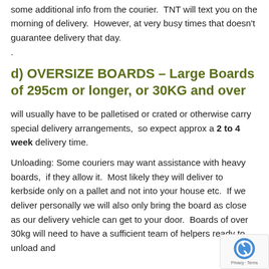some additional info from the courier.  TNT will text you on the morning of delivery.  However, at very busy times that doesn't guarantee delivery that day.
.
d) OVERSIZE BOARDS – Large Boards of 295cm or longer, or 30KG and over
will usually have to be palletised or crated or otherwise carry special delivery arrangements,  so expect approx a 2 to 4 week delivery time.
Unloading: Some couriers may want assistance with heavy boards,  if they allow it.  Most likely they will deliver to kerbside only on a pallet and not into your house etc.  If we deliver personally we will also only bring the board as close as our delivery vehicle can get to your door.  Boards of over 30kg will need to have a sufficient team of helpers ready to unload and